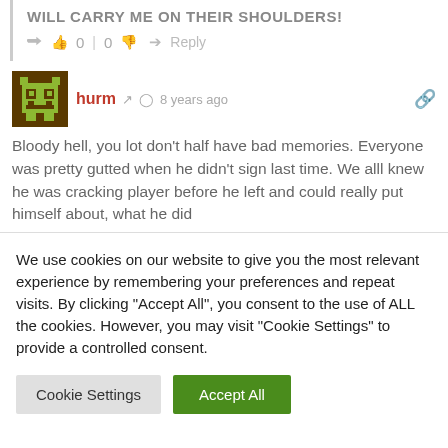WILL CARRY ME ON THEIR SHOULDERS!
0 | 0  Reply
hurm  8 years ago
Bloody hell, you lot don't half have bad memories. Everyone was pretty gutted when he didn't sign last time. We alll knew he was cracking player before he left and could really put himself about, what he did
We use cookies on our website to give you the most relevant experience by remembering your preferences and repeat visits. By clicking "Accept All", you consent to the use of ALL the cookies. However, you may visit "Cookie Settings" to provide a controlled consent.
Cookie Settings
Accept All